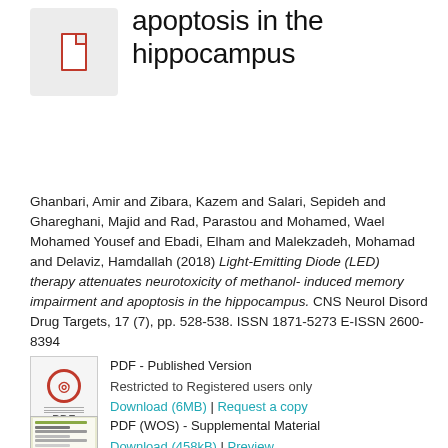apoptosis in the hippocampus
Ghanbari, Amir and Zibara, Kazem and Salari, Sepideh and Ghareghani, Majid and Rad, Parastou and Mohamed, Wael Mohamed Yousef and Ebadi, Elham and Malekzadeh, Mohamad and Delaviz, Hamdallah (2018) Light-Emitting Diode (LED) therapy attenuates neurotoxicity of methanol-induced memory impairment and apoptosis in the hippocampus. CNS Neurol Disord Drug Targets, 17 (7). pp. 528-538. ISSN 1871-5273 E-ISSN 2600-8394
[Figure (other): PDF icon - Published Version]
PDF - Published Version
Restricted to Registered users only
Download (6MB) | Request a copy
[Figure (other): WOS supplemental material thumbnail]
PDF (WOS) - Supplemental Material
Download (458kB) | Preview
[Figure (other): Third PDF thumbnail]
PDF
Download (SlkB) | Preview